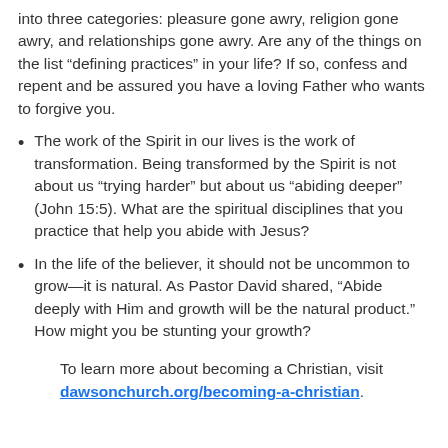into three categories: pleasure gone awry, religion gone awry, and relationships gone awry. Are any of the things on the list “defining practices” in your life? If so, confess and repent and be assured you have a loving Father who wants to forgive you.
The work of the Spirit in our lives is the work of transformation. Being transformed by the Spirit is not about us “trying harder” but about us “abiding deeper” (John 15:5). What are the spiritual disciplines that you practice that help you abide with Jesus?
In the life of the believer, it should not be uncommon to grow—it is natural. As Pastor David shared, “Abide deeply with Him and growth will be the natural product.” How might you be stunting your growth?
To learn more about becoming a Christian, visit dawsonchurch.org/becoming-a-christian.